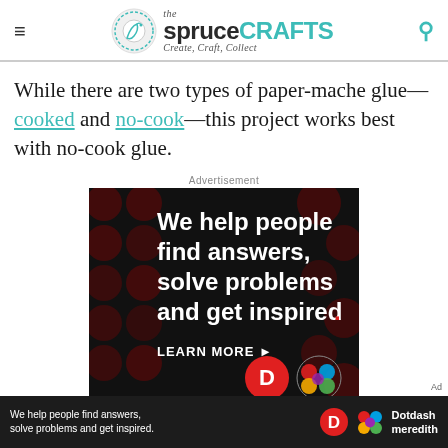the spruce CRAFTS — Create, Craft, Collect
While there are two types of paper-mache glue—cooked and no-cook—this project works best with no-cook glue.
Advertisement
[Figure (infographic): Advertisement banner: black background with dark red polka dots. White bold text reads 'We help people find answers, solve problems and get inspired.' with a red period. Below: 'LEARN MORE' button with arrow, Dotdash logo (red D), and Meredith colorful logo.]
[Figure (infographic): Sticky bottom ad bar: dark background with white text 'We help people find answers, solve problems and get inspired.' with Dotdash D logo and Meredith colorful knot logo and 'Dotdash meredith' text. 'Ad' label top right.]